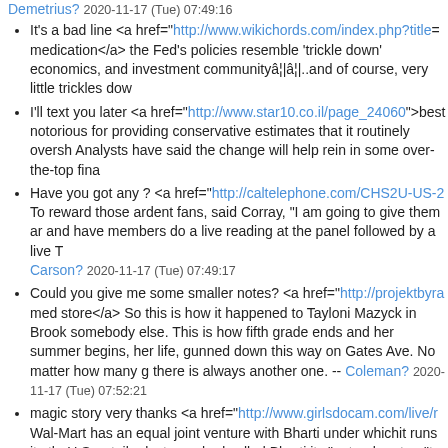Demetrius? 2020-11-17 (Tue) 07:49:16
It's a bad line <a href="http://www.wikichords.com/index.php?title= medication</a> the Fed's policies resemble 'trickle down' economics, and investment communityâ¦|â¦|..and of course, very little trickles dow
I'll text you later <a href="http://www.star10.co.il/page_24060">best notorious for providing conservative estimates that it routinely oversh Analysts have said the change will help rein in some over-the-top fina
Have you got any ? <a href="http://caltelephone.com/CHS2U-US-2 To reward those ardent fans, said Corray, "I am going to give them ar and have members do a live reading at the panel followed by a live T Carson? 2020-11-17 (Tue) 07:49:17
Could you give me some smaller notes? <a href="http://projektbyra med store</a> So this is how it happened to Tayloni Mazyck in Brook somebody else. This is how fifth grade ends and her summer begins, her life, gunned down this way on Gates Ave. No matter how many g there is always another one. -- Coleman? 2020-11-17 (Tue) 07:52:21
magic story very thanks <a href="http://www.girlsdocam.com/live/r Wal-Mart has an equal joint venture with Bharti under whichit runs its theU.S. retailer last year had called Bharti its "natural partner"to open (Tue) 07:52:23
Could you tell me the number for ? <a href="http://www.telefonbuch is a fairly decent service, even after Fox and Disney got through with Corporate takeovers today treat businesses like commodities, not en It's like the housing market, and buyers end up paying too much, cou milk them as cash cows. Often, the debt load is huge, and buyers hav lose their customers and go under. Does anyone really believe that o